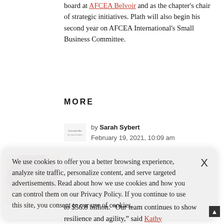board at AFCEA Belvoir and as the chapter's chair of strategic initiatives. Plath will also begin his second year on AFCEA International's Small Business Committee.
MORE
by Sarah Sybert
February 19, 2021, 10:09 am
[Figure (photo): ExecutiveBiz logo small icon]
FINANCIAL REPORTS    NEWS
[Figure (photo): Partial headshot photo of a person]
[Figure (logo): ExecutiveBiz logo - by Conner Executive]
We use cookies to offer you a better browsing experience, analyze site traffic, personalize content, and serve targeted advertisements. Read about how we use cookies and how you can control them on our Privacy Policy. If you continue to use this site, you consent to our use of cookies.
to $56.8 billion. Our team continues to show resilience and agility, said Kathy